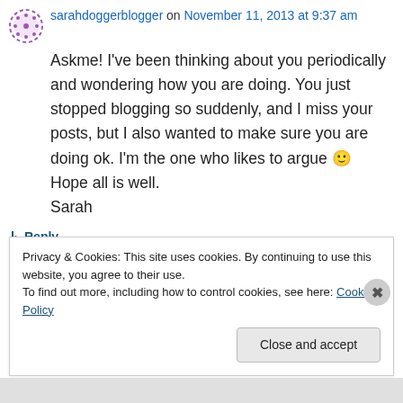sarahdoggerblogger on November 11, 2013 at 9:37 am
Askme! I've been thinking about you periodically and wondering how you are doing. You just stopped blogging so suddenly, and I miss your posts, but I also wanted to make sure you are doing ok. I'm the one who likes to argue 🙂 Hope all is well.
Sarah
↳ Reply
Privacy & Cookies: This site uses cookies. By continuing to use this website, you agree to their use.
To find out more, including how to control cookies, see here: Cookie Policy
Close and accept